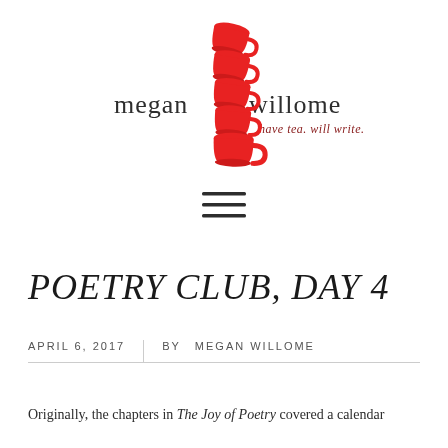[Figure (logo): Megan Willome blog logo with stacked red tea cups and text 'megan willome have tea. will write.']
[Figure (other): Hamburger menu icon with three horizontal lines]
POETRY CLUB, DAY 4
APRIL 6, 2017   BY   MEGAN WILLOME
Originally, the chapters in The Joy of Poetry covered a calendar